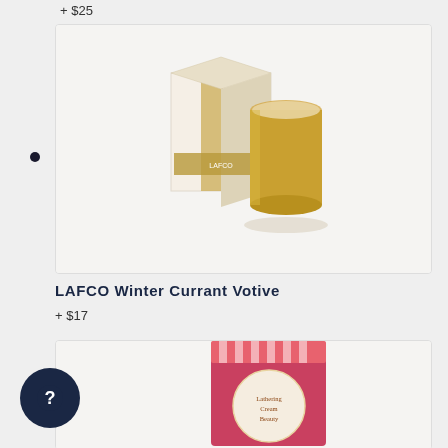+ $25
[Figure (photo): LAFCO Winter Currant Votive candle product photo showing a gold metallic candle vessel next to its box with gold stripe design on white background]
LAFCO Winter Currant Votive
+ $17
[Figure (photo): Product in a pink/red box with circular label, partially visible at bottom of page]